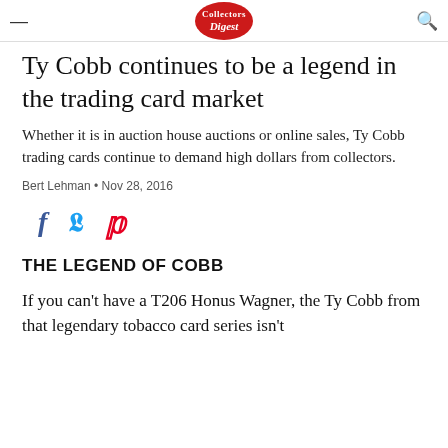Collectors Digest
Ty Cobb continues to be a legend in the trading card market
Whether it is in auction house auctions or online sales, Ty Cobb trading cards continue to demand high dollars from collectors.
Bert Lehman • Nov 28, 2016
[Figure (infographic): Social media share icons: Facebook (f), Twitter (bird), Pinterest (p)]
THE LEGEND OF COBB
If you can't have a T206 Honus Wagner, the Ty Cobb from that legendary tobacco card series isn't